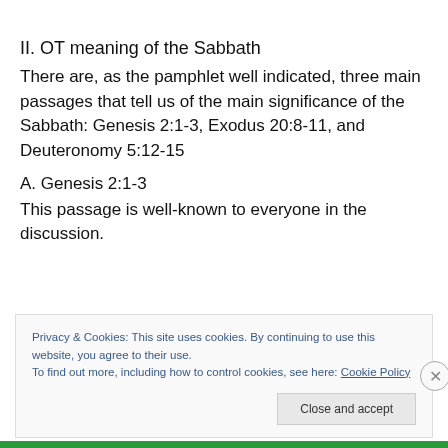II. OT meaning of the Sabbath
There are, as the pamphlet well indicated, three main passages that tell us of the main significance of the Sabbath: Genesis 2:1-3, Exodus 20:8-11, and Deuteronomy 5:12-15
A. Genesis 2:1-3
This passage is well-known to everyone in the discussion.
Privacy & Cookies: This site uses cookies. By continuing to use this website, you agree to their use.
To find out more, including how to control cookies, see here: Cookie Policy
Close and accept